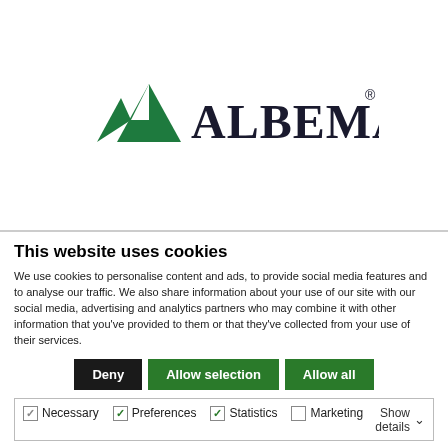[Figure (logo): Albemarle logo with green stylized mountain/triangle icon and ALBEMARLE wordmark with registered trademark symbol]
This website uses cookies
We use cookies to personalise content and ads, to provide social media features and to analyse our traffic. We also share information about your use of our site with our social media, advertising and analytics partners who may combine it with other information that you've provided to them or that they've collected from your use of their services.
Deny | Allow selection | Allow all
Necessary  Preferences  Statistics  Marketing  Show details